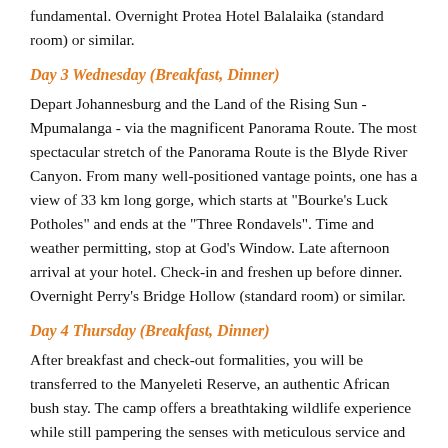fundamental. Overnight Protea Hotel Balalaika (standard room) or similar.
Day 3 Wednesday (Breakfast, Dinner)
Depart Johannesburg and the Land of the Rising Sun - Mpumalanga - via the magnificent Panorama Route. The most spectacular stretch of the Panorama Route is the Blyde River Canyon. From many well-positioned vantage points, one has a view of 33 km long gorge, which starts at "Bourke's Luck Potholes" and ends at the "Three Rondavels". Time and weather permitting, stop at God's Window. Late afternoon arrival at your hotel. Check-in and freshen up before dinner. Overnight Perry's Bridge Hollow (standard room) or similar.
Day 4 Thursday (Breakfast, Dinner)
After breakfast and check-out formalities, you will be transferred to the Manyeleti Reserve, an authentic African bush stay. The camp offers a breathtaking wildlife experience while still pampering the senses with meticulous service and superb cuisine. Morning and